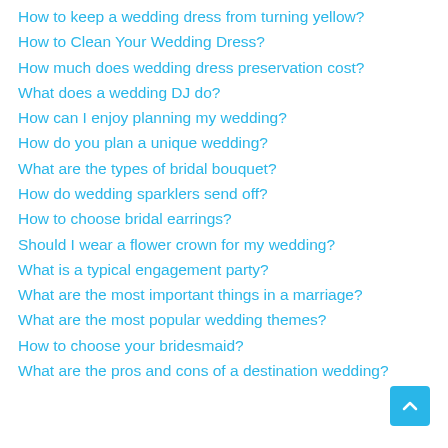How to keep a wedding dress from turning yellow?
How to Clean Your Wedding Dress?
How much does wedding dress preservation cost?
What does a wedding DJ do?
How can I enjoy planning my wedding?
How do you plan a unique wedding?
What are the types of bridal bouquet?
How do wedding sparklers send off?
How to choose bridal earrings?
Should I wear a flower crown for my wedding?
What is a typical engagement party?
What are the most important things in a marriage?
What are the most popular wedding themes?
How to choose your bridesmaid?
What are the pros and cons of a destination wedding?